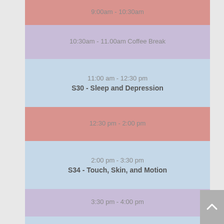9:00am - 10:30am
10:30am - 11.00am Coffee Break
11:00 am - 12:30 pm
S30 - Sleep and Depression
12:30 pm - 2:00 pm
2:00 pm - 3:30 pm
S34 - Touch, Skin, and Motion
3:30 pm - 4:00 pm
4:00 pm - 5:30 pm